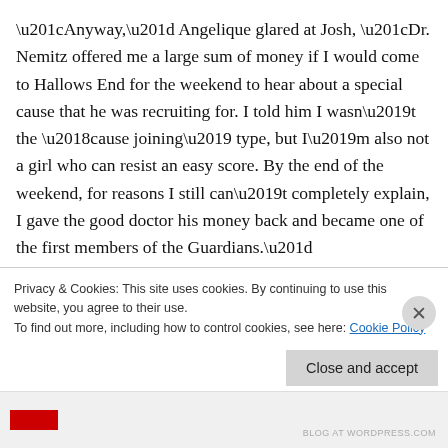“Anyway,” Angelique glared at Josh, “Dr. Nemitz offered me a large sum of money if I would come to Hallows End for the weekend to hear about a special cause that he was recruiting for. I told him I wasn’t the ‘cause joining’ type, but I’m also not a girl who can resist an easy score. By the end of the weekend, for reasons I still can’t completely explain, I gave the good doctor his money back and became one of the first members of the Guardians.”
“I remember that weekend,” Josh chimed in. “Marie and I were there along with Doran, Mason, William, a few others
Privacy & Cookies: This site uses cookies. By continuing to use this website, you agree to their use.
To find out more, including how to control cookies, see here: Cookie Policy
Close and accept